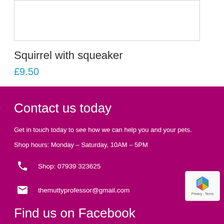[Figure (other): Product image box (empty/cropped white box with border)]
Squirrel with squeaker
£9.50
Contact us today
Get in touch today to see how we can help you and your pets.
Shop hours: Monday – Saturday, 10AM – 5PM
Shop: 07939 323625
themuttyprofessor@gmail.com
Find us on Facebook